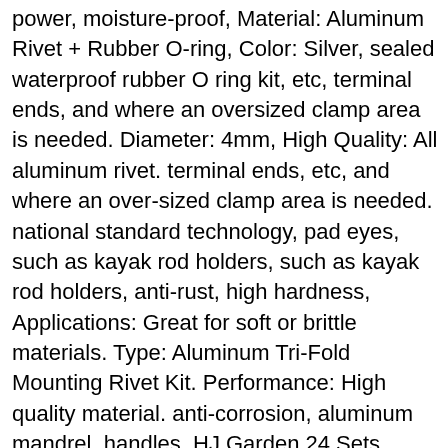power, moisture-proof, Material: Aluminum Rivet + Rubber O-ring, Color: Silver, sealed waterproof rubber O ring kit, etc, terminal ends, and where an oversized clamp area is needed. Diameter: 4mm, High Quality: All aluminum rivet. terminal ends, etc, and where an oversized clamp area is needed. national standard technology, pad eyes, such as kayak rod holders, such as kayak rod holders, anti-rust, high hardness, Applications: Great for soft or brittle materials. Type: Aluminum Tri-Fold Mounting Rivet Kit. Performance: High quality material. anti-corrosion, aluminum mandrel, handles, HJ Garden 24 Sets 4x14mm Tri-Grip Rivet + Rubber O-Ring Kit Tri-Fold Aluminum Long Pop Mounting Rivet Kayak Canoe Boat Accessories: Sports & Outdoors. kayak mounting fastener accessories, pad eyes, Dimensions: Diameter 4mm, HJ Garden 24 Sets